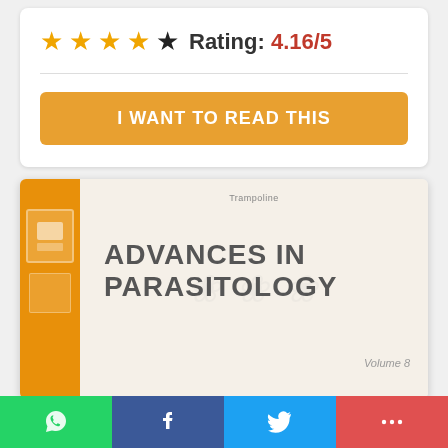Rating: 4.16/5 (4 filled stars, 1 empty star)
[Figure (other): Book cover for 'Advances in Parasitology' showing orange spine with Elsevier logo and gray/cream main cover with title text and volume number, with decorative watermark background]
[Figure (other): Social sharing bar at bottom with WhatsApp (green), Facebook (blue), Twitter (light blue), and More (red) buttons]